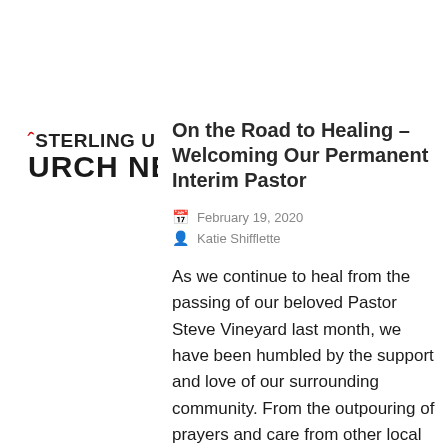[Figure (logo): Sterling United Methodist Church logo showing a stylized flame and partial text 'STERLING U' and 'URCH NE']
On the Road to Healing – Welcoming Our Permanent Interim Pastor
February 19, 2020
Katie Shifflette
As we continue to heal from the passing of our beloved Pastor Steve Vineyard last month, we have been humbled by the support and love of our surrounding community. From the outpouring of prayers and care from other local churches, to the Sterling UMC church